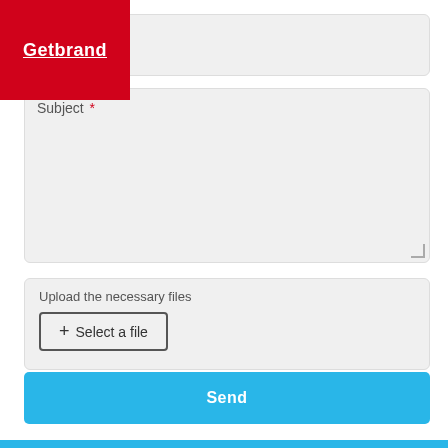[Figure (logo): Getbrand logo — red square with white underlined text 'Getbrand']
Subject *
Upload the necessary files
+ Select a file
By clicking the "Send" button, I give my consent to the processing of my personal data, in accordance with Federal Law No. 152-FZ of July 27, 2006 "On Personal Data", for the purpose of processing the request and further communication. *
Send